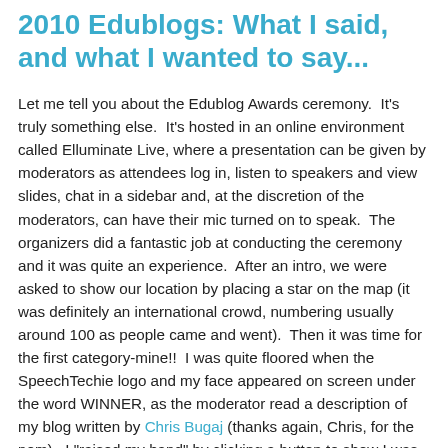2010 Edublogs: What I said, and what I wanted to say...
Let me tell you about the Edublog Awards ceremony.  It's truly something else.  It's hosted in an online environment called Elluminate Live, where a presentation can be given by moderators as attendees log in, listen to speakers and view slides, chat in a sidebar and, at the discretion of the moderators, can have their mic turned on to speak.  The organizers did a fantastic job at conducting the ceremony and it was quite an experience.  After an intro, we were asked to show our location by placing a star on the map (it was definitely an international crowd, numbering usually around 100 as people came and went).  Then it was time for the first category-mine!!  I was quite floored when the SpeechTechie logo and my face appeared on screen under the word WINNER, as the moderator read a description of my blog written by Chris Bugaj (thanks again, Chris, for the nom).  I "raised my hand" by clicking a button to show I was there, and the moderators turned on my mic and I said "Thanks, guys, I really appreciate it..." And then that was it.